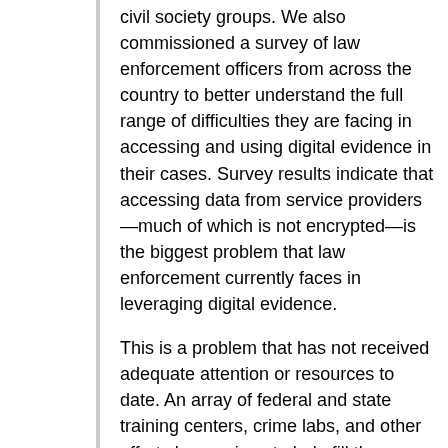civil society groups. We also commissioned a survey of law enforcement officers from across the country to better understand the full range of difficulties they are facing in accessing and using digital evidence in their cases. Survey results indicate that accessing data from service providers—much of which is not encrypted—is the biggest problem that law enforcement currently faces in leveraging digital evidence.
This is a problem that has not received adequate attention or resources to date. An array of federal and state training centers, crime labs, and other efforts have arisen to help fill the gaps, but they are able to fill only a fraction of the need. And there is no central entity responsible for monitoring these efforts, taking stock of the demand, and providing the assistance needed. The key federal entity with an explicit mission to assist state and local law enforcement with their digital evidence needs—the National Domestic Communications Assistance Center (NDCAC)has a budget of $11.4 million, spread among several different programs designed to distribute knowledge